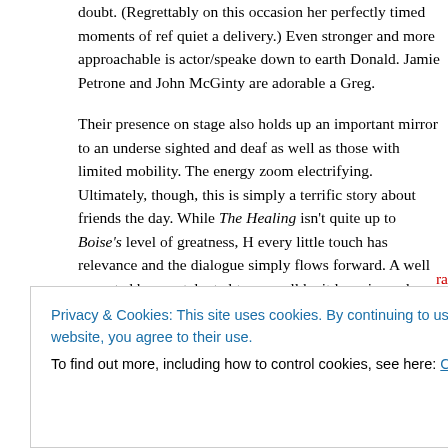doubt.  (Regrettably on this occasion her perfectly timed moments of ref quiet a delivery.)  Even stronger and more approachable is actor/speake down to earth Donald.  Jamie Petrone and John McGinty are adorable a Greg.
Their presence on stage also holds up an important mirror to an underse sighted and deaf as well as those with limited mobility.  The energy zoom electrifying.  Ultimately, though, this is simply a terrific story about friends the day.  While The Healing isn't quite up to Boise's level of greatness, H every little touch has relevance and the dialogue simply flows forward.  A well executed by any talented troupe, all be it less sincerely and powerfu
This world-premiere production has been well-mounted at the small Clum UK and US director Stella Powell-Jones brings her delicate touch to ever beats. Jason Simms' set design wonderfully captures the watched-too-m room.  And I would give Christopher Metzger a separate round of applau
Privacy & Cookies: This site uses cookies. By continuing to use this website, you agree to their use.
To find out more, including how to control cookies, see here: Cookie Policy